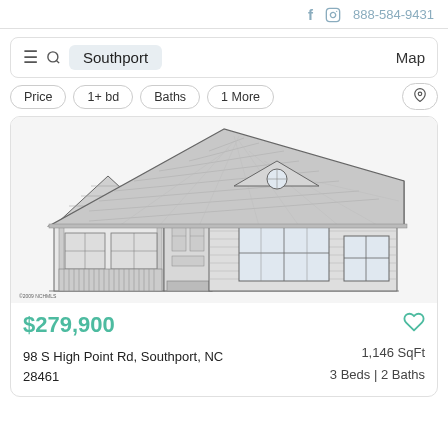f  [instagram]  888-584-9431
≡  🔍  Southport    Map
Price  1+ bd  Baths  1 More  [pin icon]
[Figure (illustration): Architectural line drawing / elevation of a single-story ranch-style house with brick exterior, steep shingled roof, circular attic window, covered front porch with windows on the left, and two large windows on the right. Small watermark text at bottom left reads ©2009 NCHMLS.]
$279,900
98 S High Point Rd, Southport, NC 28461
1,146 SqFt
3 Beds | 2 Baths